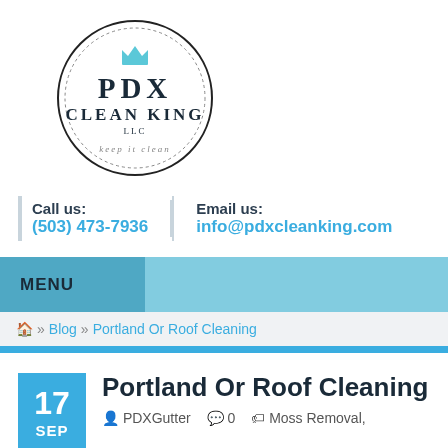[Figure (logo): PDX Clean King LLC circular logo with crown icon and tagline 'keep it clean']
Call us:
(503) 473-7936
Email us:
info@pdxcleanking.com
MENU
🏠 » Blog » Portland Or Roof Cleaning
Portland Or Roof Cleaning
PDXGutter   0   Moss Removal,